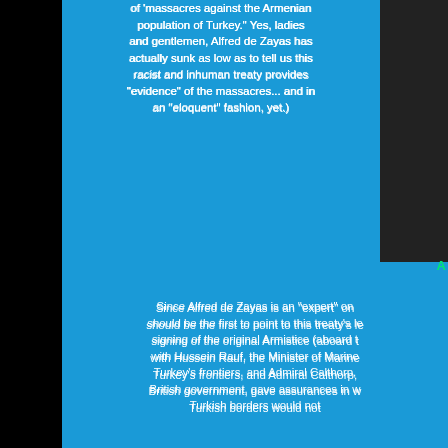of 'massacres against the Armenian population of Turkey.' Yes, ladies and gentlemen, Alfred de Zayas has actually sunk as low as to tell us this racist and inhuman treaty provides "evidence" of the massacres... and in an "eloquent" fashion, yet.)
[Figure (photo): Partial photo of a person, mostly obscured, dark background]
Since Alfred de Zayas is an "expert" on should be the first to point to this treaty's le signing of the original Armistice (aboard t with Hussein Rauf, the Minister of Marine Turkey's frontiers, and Admiral Calthorp, British government, gave assurances in w Turkish borders would not
The Sèvres clauses De Zayas brings up, n the establishment of criminal trials and the their homes were actually fulfilled. Armen droves to their homes even before the 19 them to do so, as observed by missiona foreign agents. So much so that 644,900 A was left of the empire by 1921, accord Patriarch. (In 1918 war-end, the Patria survivors still in what was left of the empi death toll — 840,000, as exaggerated as